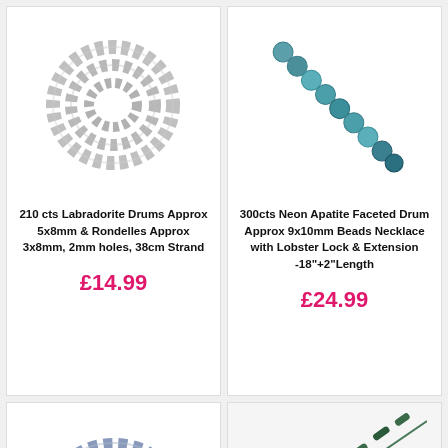[Figure (photo): Coiled strand of grey labradorite drum and rondelle beads]
210 cts Labradorite Drums Approx 5x8mm & Rondelles Approx 3x8mm, 2mm holes, 38cm Strand
£14.99
[Figure (photo): Strand of teal/blue neon apatite faceted drum beads arranged diagonally]
300cts Neon Apatite Faceted Drum Approx 9x10mm Beads Necklace with Lobster Lock & Extension -18"+2"Length
£24.99
[Figure (photo): Strand of blue and grey oval beads coiled]
[Figure (photo): Strand of dark green tube beads arranged diagonally]